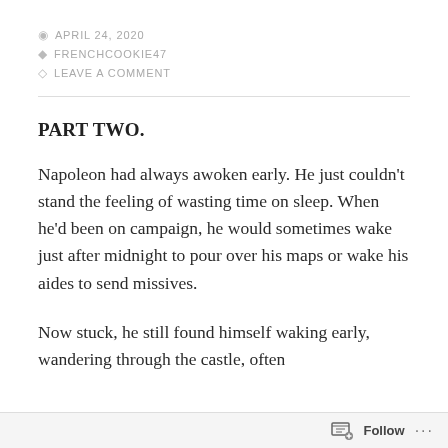APRIL 24, 2020 | FRENCHCOOKIE47 | LEAVE A COMMENT
PART TWO.
Napoleon had always awoken early. He just couldn't stand the feeling of wasting time on sleep. When he'd been on campaign, he would sometimes wake just after midnight to pour over his maps or wake his aides to send missives.
Now stuck, he still found himself waking early, wandering through the castle, often
Follow ...